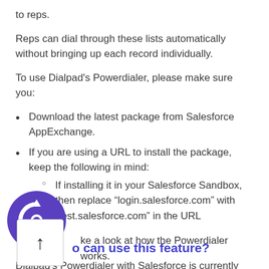to reps.
Reps can dial through these lists automatically without bringing up each record individually.
To use Dialpad's Powerdialer, please make sure you:
Download the latest package from Salesforce AppExchange.
If you are using a URL to install the package, keep the following in mind:
If installing it in your Salesforce Sandbox, then replace “login.salesforce.com” with “test.salesforce.com” in the URL
ke a look at how the Powerdialer works.
[Figure (logo): Dialpad logo - purple circle with double arrow icon]
o can use this feature?
Dialpad’s Powerdialer with Salesforce is currently